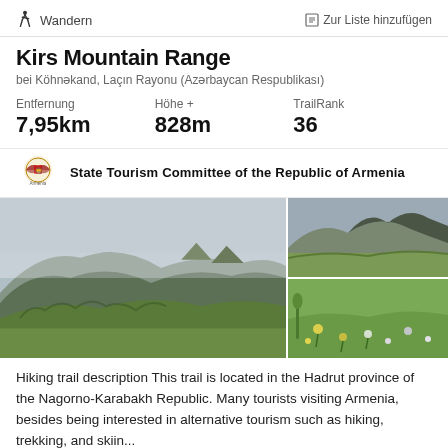Wandern | Zur Liste hinzufügen
Kirs Mountain Range
bei Köhnəkand, Laçın Rayonu (Azərbaycan Respublikası)
Entfernung 7,95km | Höhe + 828m | TrailRank 36
[Figure (logo): State Tourism Committee of the Republic of Armenia logo/emblem]
State Tourism Committee of the Republic of Armenia
[Figure (photo): Three mountain landscape photos of Kirs Mountain Range showing green hills, rocky peaks, and wildflower meadows]
Hiking trail description This trail is located in the Hadrut province of the Nagorno-Karabakh Republic. Many tourists visiting Armenia, besides being interested in alternative tourism such as hiking, trekking, and skiin...